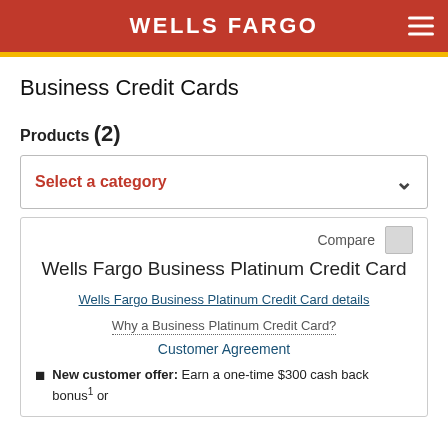WELLS FARGO
Business Credit Cards
Products (2)
Select a category
Wells Fargo Business Platinum Credit Card
[Figure (other): Wells Fargo Business Platinum Credit Card details image link]
Why a Business Platinum Credit Card?
Customer Agreement
New customer offer: Earn a one-time $300 cash back bonus1 or